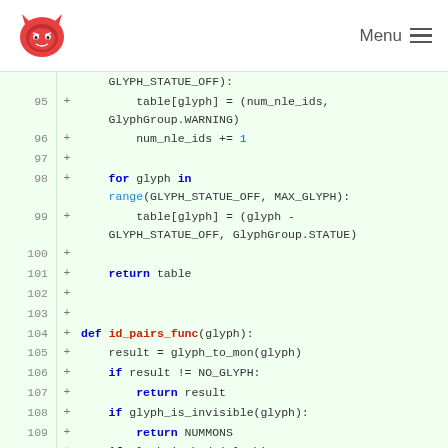Menu
[Figure (screenshot): Code diff screenshot showing Python source lines 95-110 with added lines (green background). Lines include table assignments, for loop with range(GLYPH_STATUE_OFF, MAX_GLYPH), return statements, and function def id_pairs_func(glyph) with conditionals.]